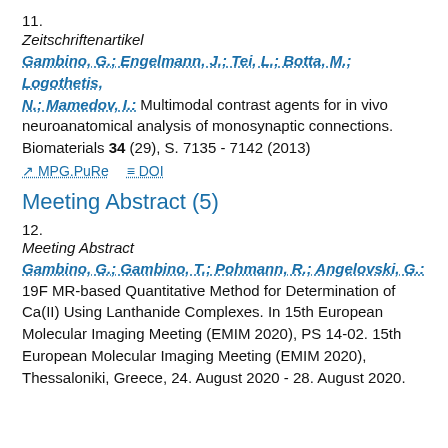11.
Zeitschriftenartikel
Gambino, G.; Engelmann, J.; Tei, L.; Botta, M.; Logothetis, N.; Mamedov, I.: Multimodal contrast agents for in vivo neuroanatomical analysis of monosynaptic connections. Biomaterials 34 (29), S. 7135 - 7142 (2013)
MPG.PuRe   DOI
Meeting Abstract (5)
12.
Meeting Abstract
Gambino, G.; Gambino, T.; Pohmann, R.; Angelovski, G.: 19F MR-based Quantitative Method for Determination of Ca(II) Using Lanthanide Complexes. In 15th European Molecular Imaging Meeting (EMIM 2020), PS 14-02. 15th European Molecular Imaging Meeting (EMIM 2020), Thessaloniki, Greece, 24. August 2020 - 28. August 2020.